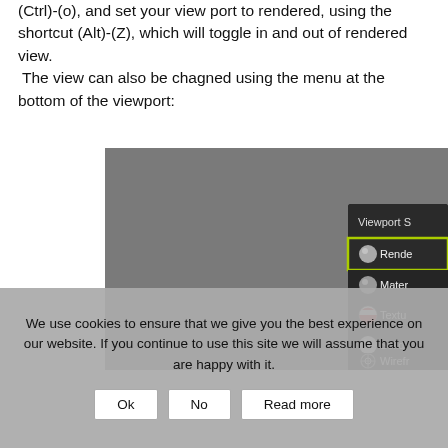(Ctrl)-(o), and set your view port to rendered, using the shortcut (Alt)-(Z), which will toggle in and out of rendered view. The view can also be chagned using the menu at the bottom of the viewport:
[Figure (screenshot): Screenshot of Blender viewport showing a grey 3D view with the Viewport Shading menu open in the bottom right. The menu shows options: Rendered (highlighted with yellow/green border), Material, Texture, Solid, Wireframe. Each option has a small sphere icon.]
We use cookies to ensure that we give you the best experience on our website. If you continue to use this site we will assume that you are happy with it.